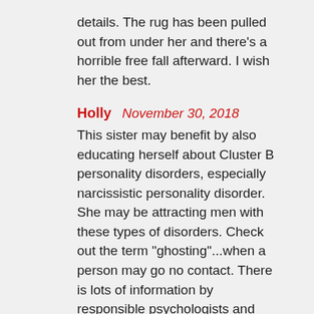details. The rug has been pulled out from under her and there's a horrible free fall afterward. I wish her the best.
Holly  November 30, 2018
This sister may benefit by also educating herself about Cluster B personality disorders, especially narcissistic personality disorder. She may be attracting men with these types of disorders. Check out the term "ghosting"...when a person may go no contact. There is lots of information by responsible psychologists and counselors on Youtube about this spectrum of disorders and about the people who attract them. Use this heartbreak to learn more why this type of man would be attracted to you. Stay strong!